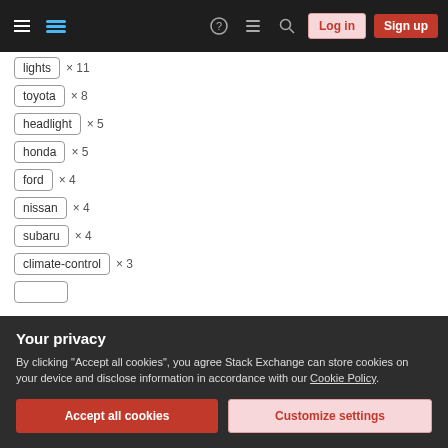Stack Exchange navigation bar with hamburger menu, logo, help, chat, search, Log in, Sign up buttons
lights × 11
toyota × 8
headlight × 5
honda × 5
ford × 4
nissan × 4
subaru × 4
climate-control × 3
Your privacy
By clicking "Accept all cookies", you agree Stack Exchange can store cookies on your device and disclose information in accordance with our Cookie Policy.
Accept all cookies | Customize settings
AND / OR gates implementation (real or educational)